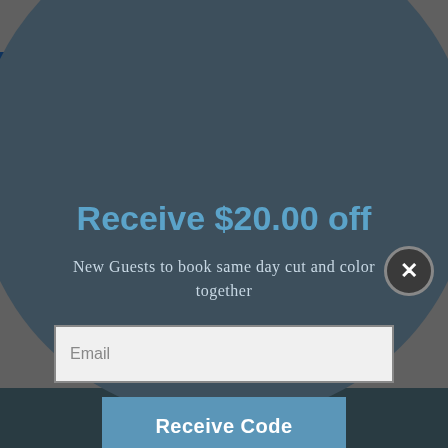[Figure (screenshot): Website background showing navigation menu items: SHOP OUR STORE, WAIR FAVES ON AMAZON, R+Co SHO..., GIF... with accessibility icon (blue square with person figure) in top-left corner.]
Receive $20.00 off
New Guests to book same day cut and color together
Email
Receive Code
*Some restrictions apply. By completing this form you are signing